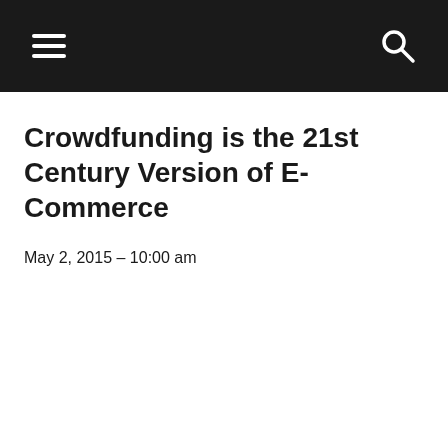[hamburger menu icon] [search icon]
Crowdfunding is the 21st Century Version of E-Commerce
May 2, 2015 – 10:00 am